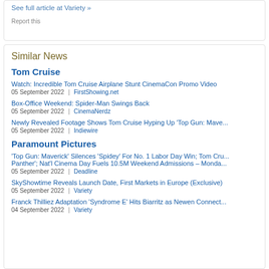See full article at Variety »
Report this
Similar News
Tom Cruise
Watch: Incredible Tom Cruise Airplane Stunt CinemaCon Promo Video
05 September 2022  |  FirstShowing.net
Box-Office Weekend: Spider-Man Swings Back
05 September 2022  |  CinemaNerdz
Newly Revealed Footage Shows Tom Cruise Hyping Up 'Top Gun: Mave...
05 September 2022  |  Indiewire
Paramount Pictures
'Top Gun: Maverick' Silences 'Spidey' For No. 1 Labor Day Win; Tom Cru... Panther'; Nat'l Cinema Day Fuels 10.5M Weekend Admissions – Monda...
05 September 2022  |  Deadline
SkyShowtime Reveals Launch Date, First Markets in Europe (Exclusive)
05 September 2022  |  Variety
Franck Thilliez Adaptation 'Syndrome E' Hits Biarritz as Newen Connect...
04 September 2022  |  Variety